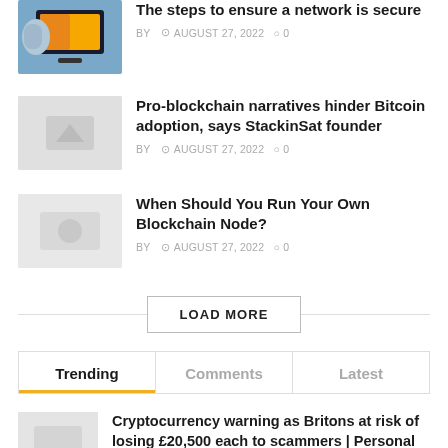[Figure (photo): Person using laptop with colorful display]
The steps to ensure a network is secure
BY  © AUGUST 27, 2022  ○ 0
[Figure (photo): Light grey placeholder thumbnail]
Pro-blockchain narratives hinder Bitcoin adoption, says StackinSat founder
BY  © AUGUST 27, 2022  ○ 0
[Figure (photo): Light grey placeholder thumbnail]
When Should You Run Your Own Blockchain Node?
BY  © AUGUST 27, 2022  ○ 0
LOAD MORE
Trending
Comments
Latest
[Figure (photo): Light grey placeholder thumbnail]
Cryptocurrency warning as Britons at risk of losing £20,500 each to scammers | Personal Finance | Finance